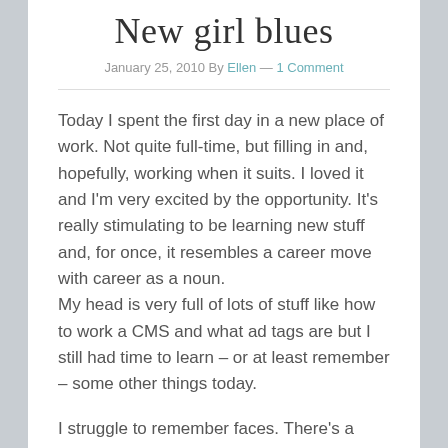New girl blues
January 25, 2010 By Ellen — 1 Comment
Today I spent the first day in a new place of work. Not quite full-time, but filling in and, hopefully, working when it suits. I loved it and I'm very excited by the opportunity. It's really stimulating to be learning new stuff and, for once, it resembles a career move with career as a noun.
My head is very full of lots of stuff like how to work a CMS and what ad tags are but I still had time to learn – or at least remember – some other things today.
I struggle to remember faces. There's a great buzz about being in a big busy office, but it'll